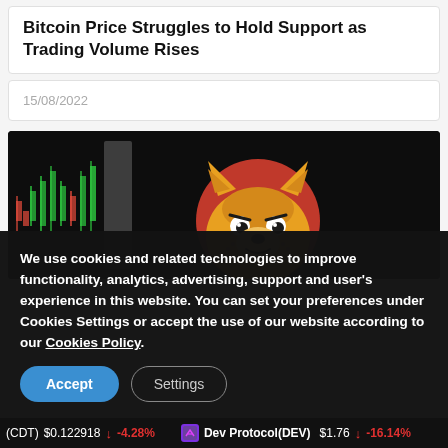Bitcoin Price Struggles to Hold Support as Trading Volume Rises
15/08/2022
[Figure (photo): Shiba Inu coin logo on dark background with candlestick chart elements visible on the left side]
We use cookies and related technologies to improve functionality, analytics, advertising, support and user's experience in this website. You can set your preferences under Cookies Settings or accept the use of our website according to our Cookies Policy.
(CDT) $0.122918 ↓ -4.28%   Dev Protocol(DEV) $1.76 ↓ -16.14%